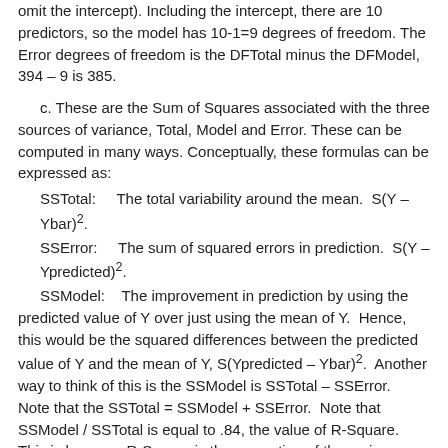omit the intercept). Including the intercept, there are 10 predictors, so the model has 10-1=9 degrees of freedom. The Error degrees of freedom is the DFTotal minus the DFModel, 394 – 9 is 385.
c. These are the Sum of Squares associated with the three sources of variance, Total, Model and Error. These can be computed in many ways. Conceptually, these formulas can be expressed as:
SSTotal:    The total variability around the mean.  S(Y – Ybar)².
SSError:    The sum of squared errors in prediction.  S(Y – Ypredicted)².
SSModel:    The improvement in prediction by using the predicted value of Y over just using the mean of Y.  Hence, this would be the squared differences between the predicted value of Y and the mean of Y, S(Ypredicted – Ybar)².  Another way to think of this is the SSModel is SSTotal – SSError.  Note that the SSTotal = SSModel + SSError.  Note that SSModel / SSTotal is equal to .84, the value of R-Square.  This is because R-Square is the proportion of the variance explained by the independent variables, hence can be computed by SSModel /